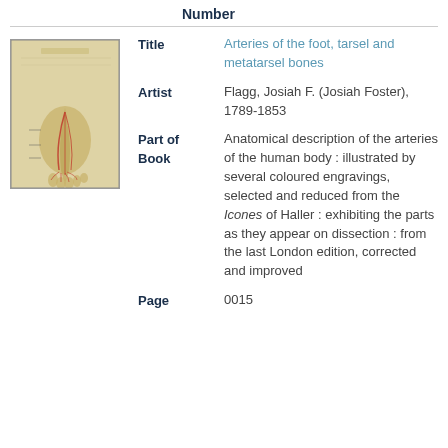Number
[Figure (illustration): Anatomical illustration of arteries of the foot showing tarsal and metatarsal bones with colored engraving on aged paper background]
Title	Arteries of the foot, tarsel and metatarsel bones
Artist	Flagg, Josiah F. (Josiah Foster), 1789-1853
Part of Book	Anatomical description of the arteries of the human body : illustrated by several coloured engravings, selected and reduced from the Icones of Haller : exhibiting the parts as they appear on dissection : from the last London edition, corrected and improved
Page	0015